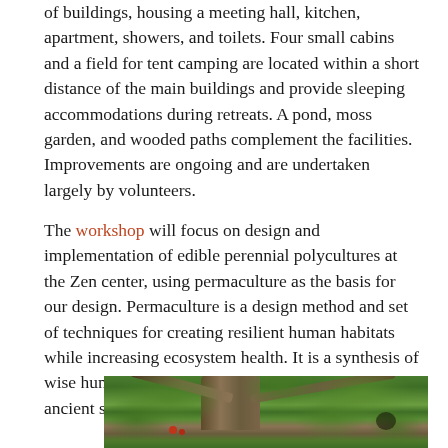of buildings, housing a meeting hall, kitchen, apartment, showers, and toilets. Four small cabins and a field for tent camping are located within a short distance of the main buildings and provide sleeping accommodations during retreats. A pond, moss garden, and wooded paths complement the facilities. Improvements are ongoing and are undertaken largely by volunteers.
The workshop will focus on design and implementation of edible perennial polycultures at the Zen center, using permaculture as the basis for our design. Permaculture is a design method and set of techniques for creating resilient human habitats while increasing ecosystem health. It is a synthesis of wise human behavior taken from both modern and ancient sources of inspiration.
[Figure (photo): Photo of a large tree with thick brown branches spread wide, surrounded by dense green foliage and plants below, with some red berries or flowers visible at the lower left.]